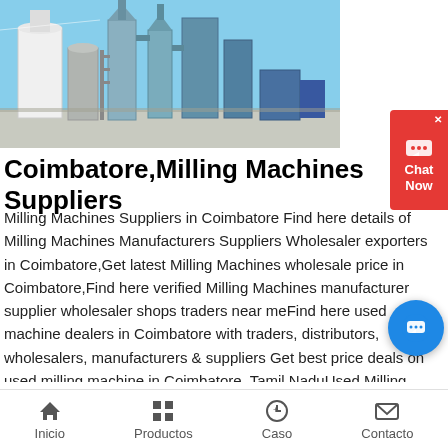[Figure (photo): Industrial milling machines / plant equipment with silos, cyclones, and conveyor structures against a blue sky]
Coimbatore,Milling Machines Suppliers
Milling Machines Suppliers in Coimbatore Find here details of Milling Machines Manufacturers Suppliers Wholesaler exporters in Coimbatore,Get latest Milling Machines wholesale price in Coimbatore,Find here verified Milling Machines manufacturer supplier wholesaler shops traders near meFind here used machine dealers in Coimbatore with traders, distributors, wholesalers, manufacturers & suppliers Get best price deals on used milling machine in Coimbatore, Tamil NaduUsed Milling Machine In Coimbatore, Tamil Nadu Dealers21102019· LUDHIANA ENGINEERING WORKS is an enterprise mainly manufacturingand
Inicio   Productos   Caso   Contacto